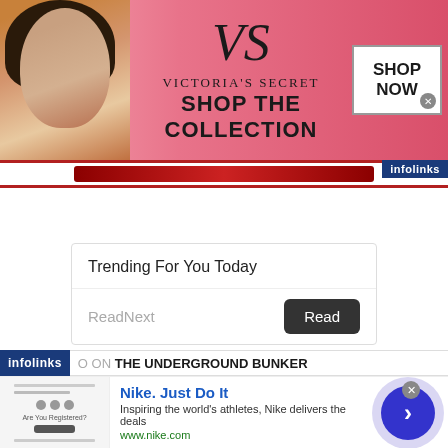[Figure (screenshot): Victoria's Secret advertisement banner with model, VS logo, 'SHOP THE COLLECTION' text and 'SHOP NOW' button on pink background]
[Figure (screenshot): Infolinks label in dark blue at top right of page]
[Figure (screenshot): Red navigation bar below the Victoria's Secret banner]
Trending For You Today
ReadNext
Read
[Figure (screenshot): Infolinks banner with text 'ON THE UNDERGROUND BUNKER']
[Figure (screenshot): Nike advertisement: 'Nike. Just Do It' - Inspiring the world's athletes, Nike delivers the deals. www.nike.com with navigation arrow button]